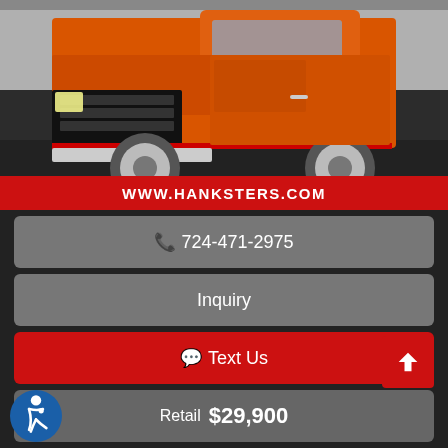[Figure (photo): Orange classic Chevrolet pickup truck on a dark floor in a showroom, front-three-quarter view]
WWW.HANKSTERS.COM
📞 724-471-2975
Inquiry
💬 Text Us
Retail  $29,900
Down Payment  $3,290
Payment  $431